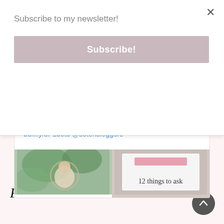Subscribe to my newsletter!
Subscribe!
children all day every day.
There’s more to women than her decision to have children or not.” 🤷‍♀️💛
buff.ly/3P1b0tu @sotonbloggers
[Figure (photo): Two side-by-side images: left shows a person in a garden/plant setting, right shows text reading '12 things to ask' with a pink banner tag]
Find me on Facebook!